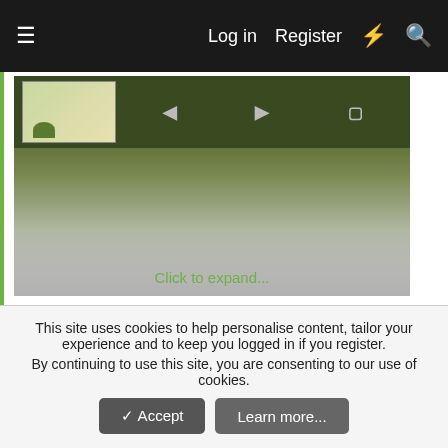Log in  Register
[Figure (screenshot): Quoted post image area with dark green background, thumbnail image, navigation arrows, and 'Click to expand...' link in green text with fade overlay]
listening to these snippits i'm liking what i'm hearing

i can also see you doing that washed African dad at the christening party dance to these tunes like nobodies watching you

a sight to behold
trilliam
This site uses cookies to help personalise content, tailor your experience and to keep you logged in if you register.
By continuing to use this site, you are consenting to our use of cookies.